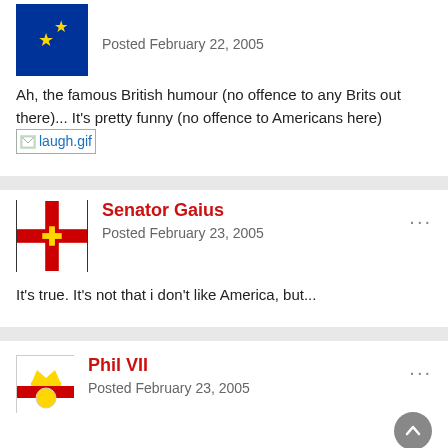Ah, the famous British humour (no offence to any Brits out there)... It's pretty funny (no offence to Americans here) [laugh.gif]
Senator Gaius
Posted February 23, 2005
It's true. It's not that i don't like America, but...
Phil VII
Posted February 23, 2005
ah brillient, i'm sure ive seen it before somewhere, but its still funny, number 11 is hilarious!...